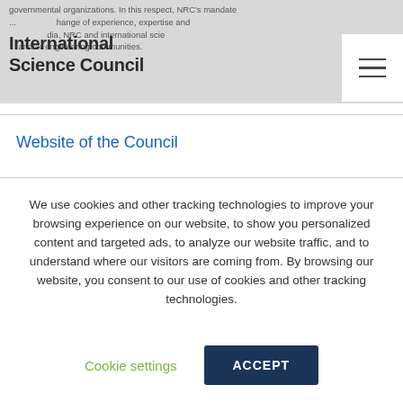governmental organizations. In this respect, NRC's mandate ... change of experience, expertise and ... dia, NRC and international scie... and/or engineering communities.
International Science Council
Website of the Council
We use cookies and other tracking technologies to improve your browsing experience on our website, to show you personalized content and targeted ads, to analyze our website traffic, and to understand where our visitors are coming from. By browsing our website, you consent to our use of cookies and other tracking technologies.
Cookie settings
ACCEPT